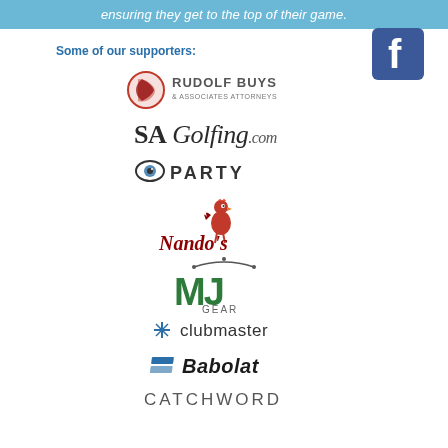ensuring they get to the top of their game.
Some of our supporters:
[Figure (logo): Facebook logo button (blue square with white f)]
[Figure (logo): Rudolf Buys & Associates Attorneys logo]
[Figure (logo): SA Golfing.com logo]
[Figure (logo): 9Party logo with stylized eye]
[Figure (logo): Nando's logo with rooster]
[Figure (logo): MJ Gear logo with green M and arc]
[Figure (logo): clubmaster logo with diamond symbol]
[Figure (logo): Babolat logo]
[Figure (logo): Catchword logo]